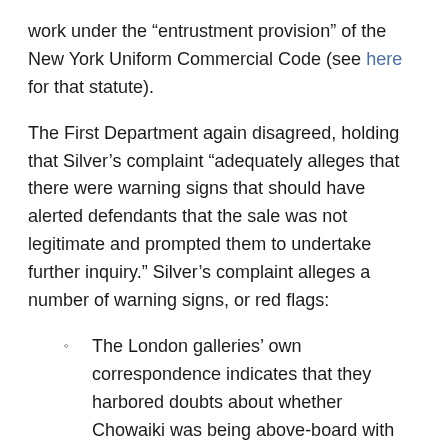work under the “entrustment provision” of the New York Uniform Commercial Code (see here for that statute).
The First Department again disagreed, holding that Silver’s complaint “adequately alleges that there were warning signs that should have alerted defendants that the sale was not legitimate and prompted them to undertake further inquiry.” Silver’s complaint alleges a number of warning signs, or red flags:
The London galleries’ own correspondence indicates that they harbored doubts about whether Chowaiki was being above-board with them;
They galleries experienced abnormal delays in dealing with Chowaiki; and
They galleries had concerns about another deal they